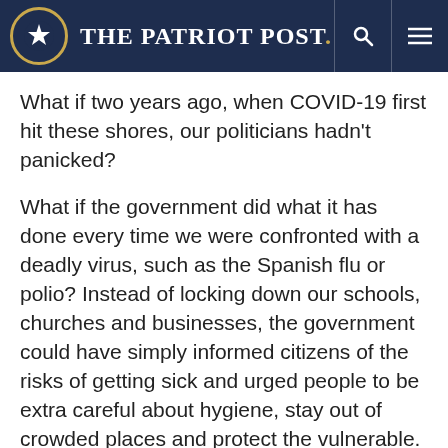The Patriot Post
What if two years ago, when COVID-19 first hit these shores, our politicians hadn't panicked?
What if the government did what it has done every time we were confronted with a deadly virus, such as the Spanish flu or polio? Instead of locking down our schools, churches and businesses, the government could have simply informed citizens of the risks of getting sick and urged people to be extra careful about hygiene, stay out of crowded places and protect the vulnerable.
It turns out there was one country that mostly rejected lockdowns and let life go on as normal as possible under dire circumstances. That country was Sweden.